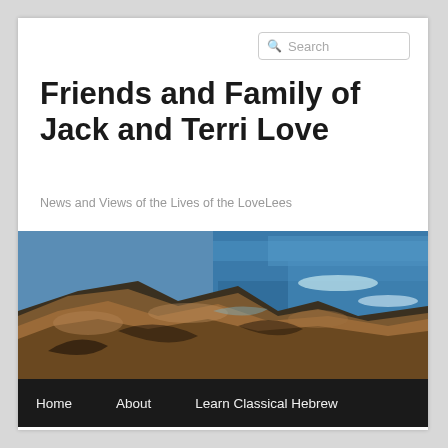Friends and Family of Jack and Terri Love
News and Views of the Lives of the LoveLees
[Figure (photo): Coastal rocky shoreline with blue ocean waves crashing against orange-brown rocks]
Home   About   Learn Classical Hebrew
TAG ARCHIVES: JONAS SALK